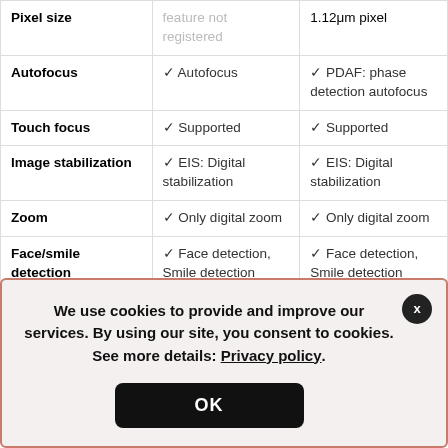| Feature | Device 1 | Device 2 |
| --- | --- | --- |
| Pixel size | feature not registered | 1.12μm pixel |
| Autofocus | ✓ Autofocus | ✓ PDAF: phase detection autofocus |
| Touch focus | ✓ Supported | ✓ Supported |
| Image stabilization | ✓ EIS: Digital stabilization | ✓ EIS: Digital stabilization |
| Zoom | ✓ Only digital zoom | ✓ Only digital zoom |
| Face/smile detection | ✓ Face detection, Smile detection | ✓ Face detection, Smile detection |
| BSI sensor | □ Not supported | □ Not supported |
| HDR | □ Not supported | ✓ HDR photo on both |
We use cookies to provide and improve our services. By using our site, you consent to cookies. See more details: Privacy policy.
OK